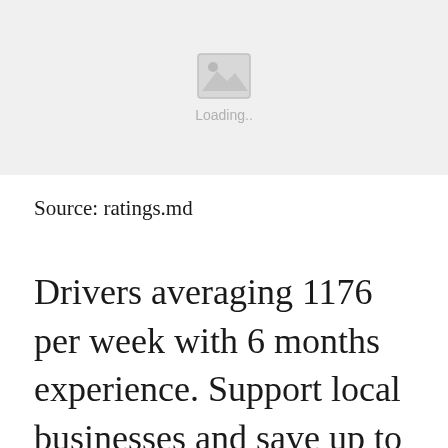[Figure (other): Image loading placeholder with mountain/image icon and 'Loading..' text]
Source: ratings.md
Drivers averaging 1176 per week with 6 months experience. Support local businesses and save up to 70 off. Burke Butts Calhoun Camden Candler Carroll Catoosa. At Preferred Pharmacies you can